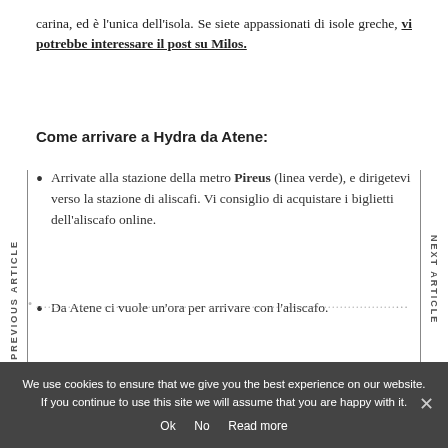carina, ed è l'unica dell'isola. Se siete appassionati di isole greche, vi potrebbe interessare il post su Milos.
Come arrivare a Hydra da Atene:
Arrivate alla stazione della metro Pireus (linea verde), e dirigetevi verso la stazione di aliscafi. Vi consiglio di acquistare i biglietti dell'aliscafo online.
Da Atene ci vuole un'ora per arrivare con l'aliscafo.
We use cookies to ensure that we give you the best experience on our website. If you continue to use this site we will assume that you are happy with it.